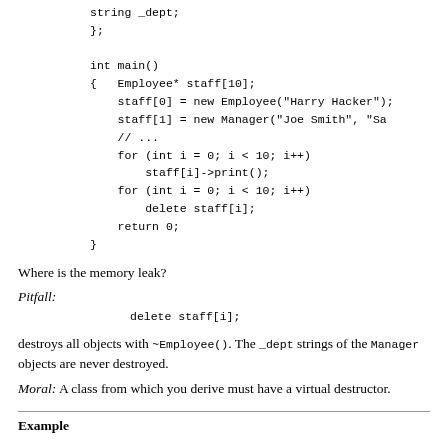string _dept;
};

int main()
{   Employee* staff[10];
    staff[0] = new Employee("Harry Hacker");
    staff[1] = new Manager("Joe Smith", "Sa
    // ...
    for (int i = 0; i < 10; i++)
        staff[i]->print();
    for (int i = 0; i < 10; i++)
        delete staff[i];
    return 0;
}
Where is the memory leak?
Pitfall:
delete staff[i];
destroys all objects with ~Employee(). The _dept strings of the Manager objects are never destroyed.
Moral: A class from which you derive must have a virtual destructor.
Example